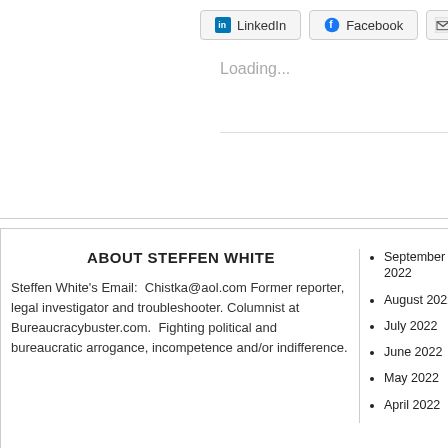[Figure (screenshot): Social share buttons: LinkedIn, Facebook, and partial email button]
Loading...
ABOUT STEFFEN WHITE
Steffen White's Email:  Chistka@aol.com Former reporter, legal investigator and troubleshooter. Columnist at Bureaucracybuster.com.  Fighting political and bureaucratic arrogance, incompetence and/or indifference.
September 2022
August 2022
July 2022
June 2022
May 2022
April 2022